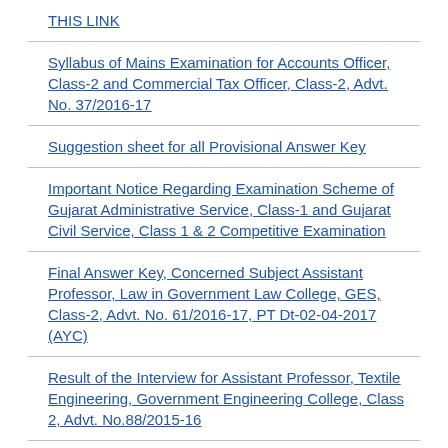THIS LINK
Syllabus of Mains Examination for Accounts Officer, Class-2 and Commercial Tax Officer, Class-2, Advt. No. 37/2016-17
Suggestion sheet for all Provisional Answer Key
Important Notice Regarding Examination Scheme of Gujarat Administrative Service, Class-1 and Gujarat Civil Service, Class 1 & 2 Competitive Examination
Final Answer Key, Concerned Subject Assistant Professor, Law in Government Law College, GES, Class-2, Advt. No. 61/2016-17, PT Dt-02-04-2017 (AYC)
Result of the Interview for Assistant Professor, Textile Engineering, Government Engineering College, Class 2, Advt. No.88/2015-16
Result of the Interview for of Assistant Director, (Govt.